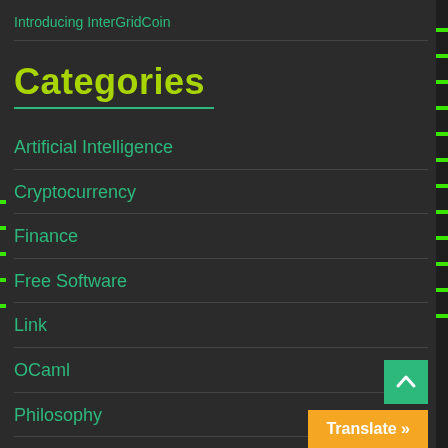Introducing InterGridCoin
Categories
Artificial Intelligence
Cryptocurrency
Finance
Free Software
Link
OCaml
Philosophy
Physics
Python